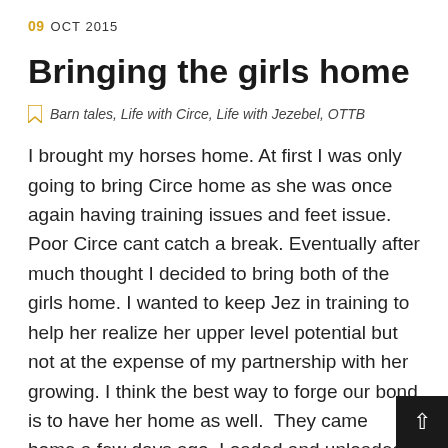09 OCT 2015
Bringing the girls home
Barn tales, Life with Circe, Life with Jezebel, OTTB
I brought my horses home. At first I was only going to bring Circe home as she was once again having training issues and feet issue. Poor Circe cant catch a break. Eventually after much thought I decided to bring both of the girls home. I wanted to keep Jez in training to help her realize her upper level potential but not at the expense of my partnership with her growing. I think the best way to forge our bond is to have her home as well.  They came home a few days ago. Loaded and unloaded easy and have been settling in. My better half and I spent 6 weeks